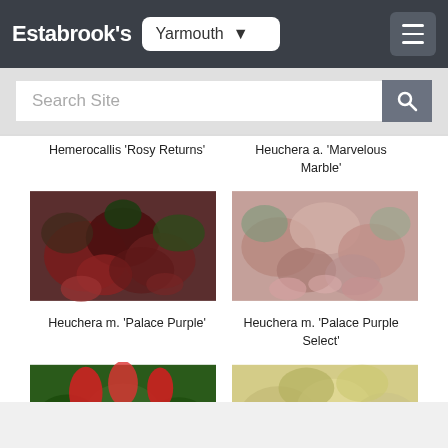Estabrook's — Yarmouth
Search Site
Hemerocallis 'Rosy Returns'
Heuchera a. 'Marvelous Marble'
[Figure (photo): Heuchera m. 'Palace Purple' plant with dark reddish-purple lobed leaves]
[Figure (photo): Heuchera m. 'Palace Purple Select' plant with pink-brown lobed leaves]
Heuchera m. 'Palace Purple'
Heuchera m. 'Palace Purple Select'
[Figure (photo): Partial view of plant with red flowers]
[Figure (photo): Partial view of plant with light green/yellow foliage]